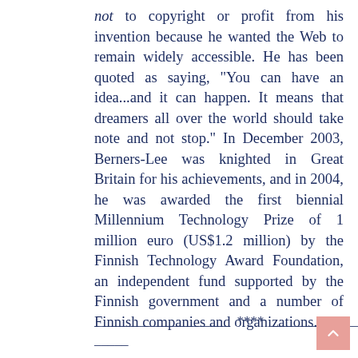not to copyright or profit from his invention because he wanted the Web to remain widely accessible. He has been quoted as saying, "You can have an idea...and it can happen. It means that dreamers all over the world should take note and not stop." In December 2003, Berners-Lee was knighted in Great Britain for his achievements, and in 2004, he was awarded the first biennial Millennium Technology Prize of 1 million euro (US$1.2 million) by the Finnish Technology Award Foundation, an independent fund supported by the Finnish government and a number of Finnish companies and organizations.
____________________****___________________-----